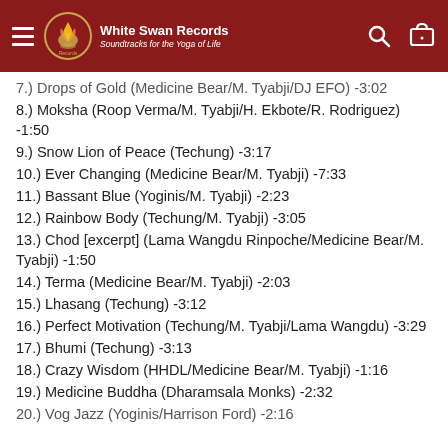White Swan Records — Soundtracks for the Yoga of Life
7.) Drops of Gold (Medicine Bear/M. Tyabji/DJ EFO) -3:02
8.) Moksha (Roop Verma/M. Tyabji/H. Ekbote/R. Rodriguez) -1:50
9.) Snow Lion of Peace (Techung) -3:17
10.) Ever Changing (Medicine Bear/M. Tyabji) -7:33
11.) Bassant Blue (Yoginis/M. Tyabji) -2:23
12.) Rainbow Body (Techung/M. Tyabji) -3:05
13.) Chod [excerpt] (Lama Wangdu Rinpoche/Medicine Bear/M. Tyabji) -1:50
14.) Terma (Medicine Bear/M. Tyabji) -2:03
15.) Lhasang (Techung) -3:12
16.) Perfect Motivation (Techung/M. Tyabji/Lama Wangdu) -3:29
17.) Bhumi (Techung) -3:13
18.) Crazy Wisdom (HHDL/Medicine Bear/M. Tyabji) -1:16
19.) Medicine Buddha (Dharamsala Monks) -2:32
20.) Yog Jazz (Yoginis/Harrison Ford) -2:16